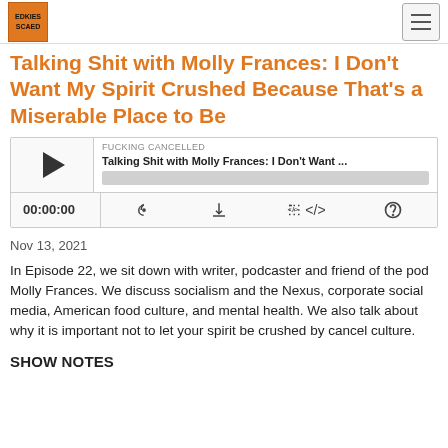FUCKING CANCELLED podcast logo and navigation
Talking Shit with Molly Frances: I Don't Want My Spirit Crushed Because That's a Miserable Place to Be
[Figure (other): Podcast audio player widget showing episode 'Talking Shit with Molly Frances: I Don't Want ...' with play button, progress bar, timestamp 00:00:00, and controls for RSS, download, embed, and share]
Nov 13, 2021
In Episode 22, we sit down with writer, podcaster and friend of the pod Molly Frances. We discuss socialism and the Nexus, corporate social media, American food culture, and mental health. We also talk about why it is important not to let your spirit be crushed by cancel culture.
SHOW NOTES